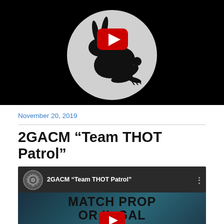[Figure (illustration): Black background image with a white circle containing a black silhouette of a running/jumping rabbit, overlaid with a red YouTube play button logo in the upper portion of the circle.]
November 20, 2019
2GACM “Team THOT Patrol”
[Figure (screenshot): YouTube video thumbnail showing '2GACM "Team THOT Patrol"' as the video title in the top bar with a gear/channel icon, and bold text over a dark teal background reading 'MATCH PROP OR ILLEGAL GGBW SHIPMENT?' with a YouTube play button overlay in the center.]